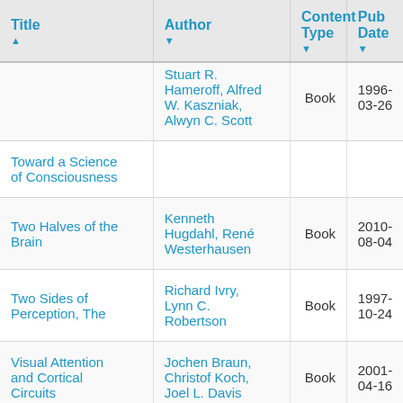| Title | Author | Content Type | Pub Date |
| --- | --- | --- | --- |
| Toward a Science of Consciousness | Stuart R. Hameroff, Alfred W. Kaszniak, Alwyn C. Scott | Book | 1996-03-26 |
| Two Halves of the Brain | Kenneth Hugdahl, René Westerhausen | Book | 2010-08-04 |
| Two Sides of Perception, The | Richard Ivry, Lynn C. Robertson | Book | 1997-10-24 |
| Visual Attention and Cortical Circuits | Jochen Braun, Christof Koch, Joel L. Davis | Book | 2001-04-16 |
| What the Hands Reveal about the Brain | Howard Poizner, Edward Klima, Ursula Bellugi | Book | 1990-03-14 |
| Zen and the Brain | James H. Austin | Book | 1998-02-06 |